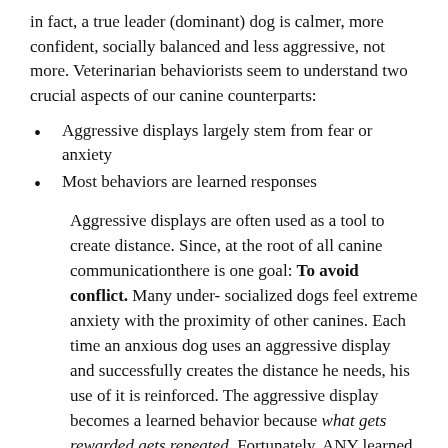in fact, a true leader (dominant) dog is calmer, more confident, socially balanced and less aggressive, not more. Veterinarian behaviorists seem to understand two crucial aspects of our canine counterparts:
Aggressive displays largely stem from fear or anxiety
Most behaviors are learned responses
Aggressive displays are often used as a tool to create distance. Since, at the root of all canine communicationthere is one goal: To avoid conflict. Many under- socialized dogs feel extreme anxiety with the proximity of other canines. Each time an anxious dog uses an aggressive display and successfully creates the distance he needs, his use of it is reinforced. The aggressive display becomes a learned behavior because what gets rewarded gets repeated. Fortunately, ANY learned behavior can be unlearned once we stop attributing dominance as the 'catch all' explanation.